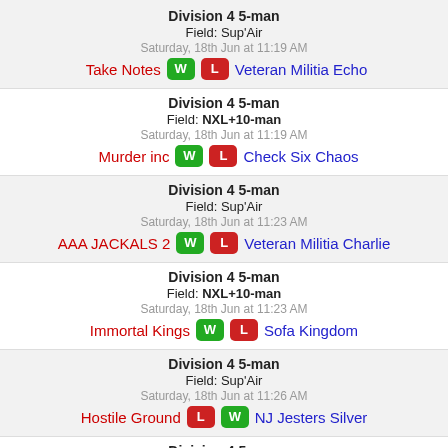Division 4 5-man | Field: Sup'Air | Saturday, 18th Jun at 11:19 AM | Take Notes W L Veteran Militia Echo
Division 4 5-man | Field: NXL+10-man | Saturday, 18th Jun at 11:19 AM | Murder inc W L Check Six Chaos
Division 4 5-man | Field: Sup'Air | Saturday, 18th Jun at 11:23 AM | AAA JACKALS 2 W L Veteran Militia Charlie
Division 4 5-man | Field: NXL+10-man | Saturday, 18th Jun at 11:23 AM | Immortal Kings W L Sofa Kingdom
Division 4 5-man | Field: Sup'Air | Saturday, 18th Jun at 11:26 AM | Hostile Ground L W NJ Jesters Silver
Division 4 5-man